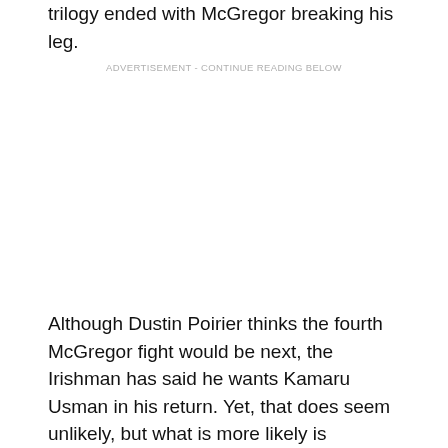trilogy ended with McGregor breaking his leg.
ADVERTISEMENT - CONTINUE READING BELOW
Although Dustin Poirier thinks the fourth McGregor fight would be next, the Irishman has said he wants Kamaru Usman in his return. Yet, that does seem unlikely, but what is more likely is McGregor fights at 170lbs in his return. With that, perhaps the fourth fight takes place at welterweight as both men look to establish themselves as title contenders in